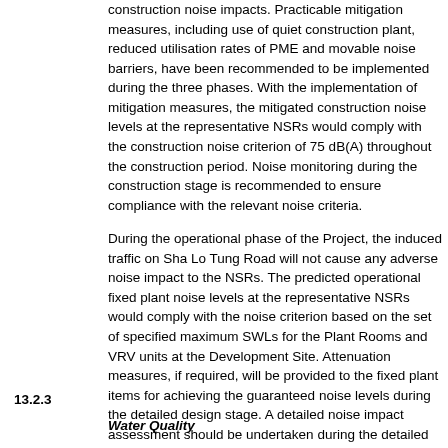construction noise impacts. Practicable mitigation measures, including use of quiet construction plant, reduced utilisation rates of PME and movable noise barriers, have been recommended to be implemented during the three phases. With the implementation of mitigation measures, the mitigated construction noise levels at the representative NSRs would comply with the construction noise criterion of 75 dB(A) throughout the construction period. Noise monitoring during the construction stage is recommended to ensure compliance with the relevant noise criteria.
During the operational phase of the Project, the induced traffic on Sha Lo Tung Road will not cause any adverse noise impact to the NSRs. The predicted operational fixed plant noise levels at the representative NSRs would comply with the noise criterion based on the set of specified maximum SWLs for the Plant Rooms and VRV units at the Development Site. Attenuation measures, if required, will be provided to the fixed plant items for achieving the guaranteed noise levels during the detailed design stage. A detailed noise impact assessment should be undertaken during the detailed design of the fixed plant items for the development. Noise monitoring is not required during the operational phase.
13.2.3    Water Quality